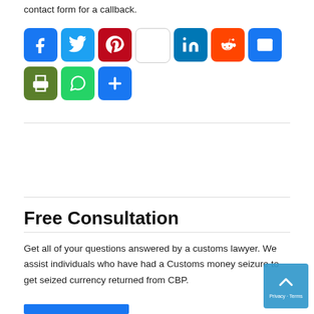contact form for a callback.
[Figure (other): Row of social media sharing buttons: Facebook, Twitter, Pinterest, blank, LinkedIn, Reddit, Email, Print, WhatsApp, and a plus/more button]
Free Consultation
Get all of your questions answered by a customs lawyer. We assist individuals who have had a Customs money seizure to get seized currency returned from CBP.